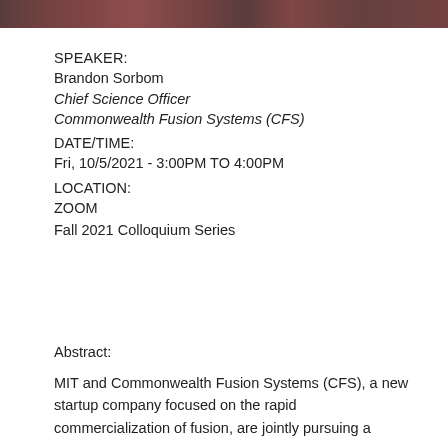[Figure (photo): Group photo banner at the top of the page showing people in a crowd setting]
SPEAKER:
Brandon Sorbom
Chief Science Officer
Commonwealth Fusion Systems (CFS)
DATE/TIME:
Fri, 10/5/2021 - 3:00PM TO 4:00PM
LOCATION:
ZOOM
Fall 2021 Colloquium Series
Abstract:
MIT and Commonwealth Fusion Systems (CFS), a new startup company focused on the rapid commercialization of fusion, are jointly pursuing a